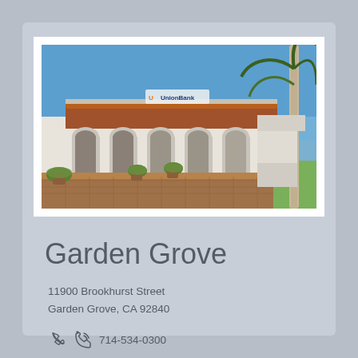[Figure (photo): Exterior photo of Union Bank branch in Garden Grove — a white Spanish-style building with terracotta tile roof, arched walkway, potted plants, brick-paved patio, and a palm tree on the right side under a blue sky.]
Garden Grove
11900 Brookhurst Street
Garden Grove, CA 92840
714-534-0300